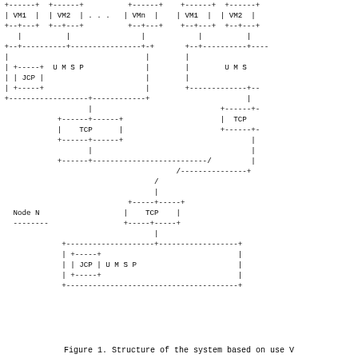[Figure (schematic): ASCII art network diagram showing system structure with VMs (VM1, VM2, ..., VMn) connected to UMSP layers containing JCP modules, which connect via TCP to a network node N at the bottom also containing JCP/UMSP. Two nodes shown side by side connected via a diagonal dashed line representing a network link.]
Figure 1. Structure of the system based on use V